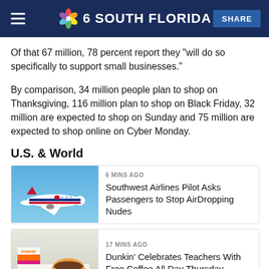NBC 6 South Florida
Of that 67 million, 78 percent report they "will do so specifically to support small businesses."
By comparison, 34 million people plan to shop on Thanksgiving, 116 million plan to shop on Black Friday, 32 million are expected to shop on Sunday and 75 million are expected to shop online on Cyber Monday.
U.S. & World
[Figure (photo): Southwest Airlines airplane in flight against blue sky]
6 MINS AGO
Southwest Airlines Pilot Asks Passengers to Stop AirDropping Nudes
[Figure (photo): Dunkin' coffee cup and donut on white surface]
17 MINS AGO
Dunkin' Celebrates Teachers With Free Coffee All Day Thursday